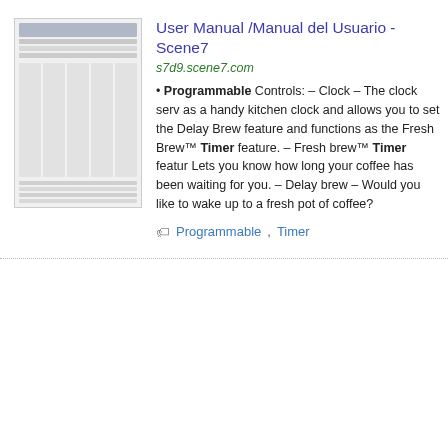[Figure (screenshot): Thumbnail preview of a user manual document page with header and table-like rows]
User Manual /Manual del Usuario - Scene7
s7d9.scene7.com
• Programmable Controls: – Clock – The clock serves as a handy kitchen clock and allows you to set the Delay Brew feature and functions as the Fresh Brew™ Timer feature. – Fresh brew™ Timer feature. Lets you know how long your coffee has been waiting for you. – Delay brew – Would you like to wake up to a fresh pot of coffee?
Programmable, Timer